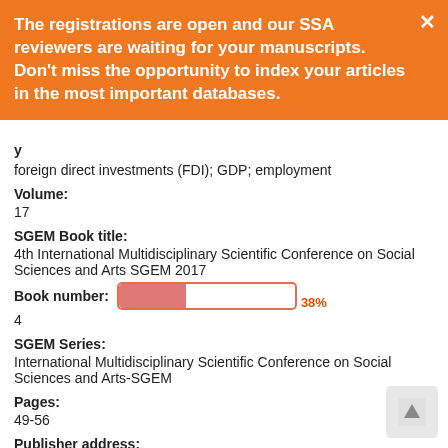The registrations are open and our SSA reviewers are waiting for your manuscripts. Don't miss the opportunity to index your articles in the most important databases.
foreign direct investments (FDI); GDP; employment
Volume:
17
SGEM Book title:
4th International Multidisciplinary Scientific Conference on Social Sciences and Arts SGEM 2017
Book number:
4
SGEM Series:
International Multidisciplinary Scientific Conference on Social Sciences and Arts-SGEM
Pages:
49-56
Publisher address:
51 Alexander Malinov blvd, Sofia, 1712, Bulgaria
SGEM supporters: